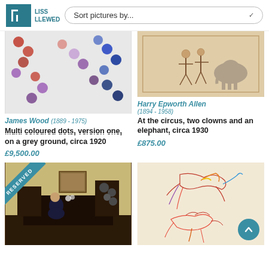LISS LLEWED | Sort pictures by...
[Figure (photo): Multi-coloured dots in red, pink, and blue arranged diagonally on a grey/white ground]
James Wood (1889 - 1975)
Multi coloured dots, version one, on a grey ground, circa 1920
£9,500.00
[Figure (photo): Ink drawing of circus figures with an elephant, circa 1930]
Harry Epworth Allen (1894 - 1958)
At the circus, two clowns and an elephant, circa 1930
£875.00
[Figure (photo): Interior oil painting showing a woman reading at a dark wood desk in an ornate room, with a RESERVED banner]
[Figure (photo): Coloured sketch of a bird (parrot or exotic bird) in flight and another sketch below, on tan paper]